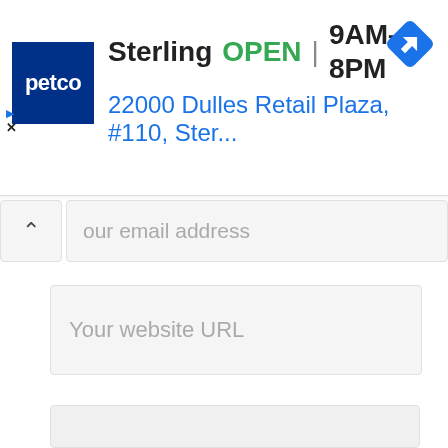[Figure (screenshot): Petco ad banner showing store location: Sterling, OPEN, 9AM-8PM, address 22000 Dulles Retail Plaza, #110, Ster... with Petco logo and navigation icon]
your email address
Your website URL
[Figure (screenshot): Large empty grey input/text area box]